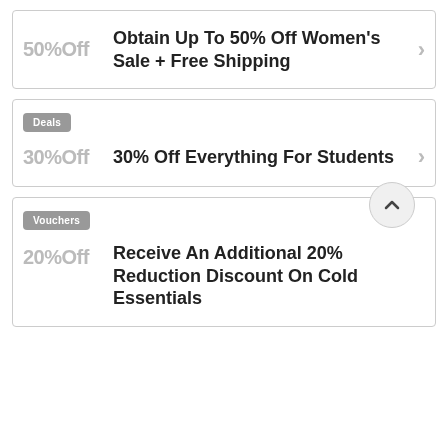50%Off
Obtain Up To 50% Off Women's Sale + Free Shipping
Deals
30%Off
30% Off Everything For Students
Vouchers
20%Off
Receive An Additional 20% Reduction Discount On Cold Essentials